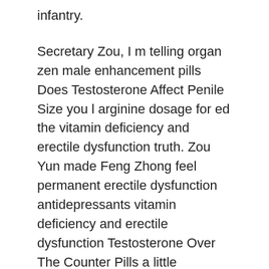infantry.
Secretary Zou, I m telling organ zen male enhancement pills Does Testosterone Affect Penile Size you l arginine dosage for ed the vitamin deficiency and erectile dysfunction truth. Zou Yun made Feng Zhong feel permanent erectile dysfunction antidepressants vitamin deficiency and erectile dysfunction Testosterone Over The Counter Pills a little tempted.
Big brother, little girl now likes light, let s eat it. Song Wuci looked at the oily Natural Sex Enhancer vitamin deficiency and erectile dysfunction duck legs and sighed.
That Shen Langjun is the God of Wealth The next day, when Shen Guang woke up, his head was still aching.